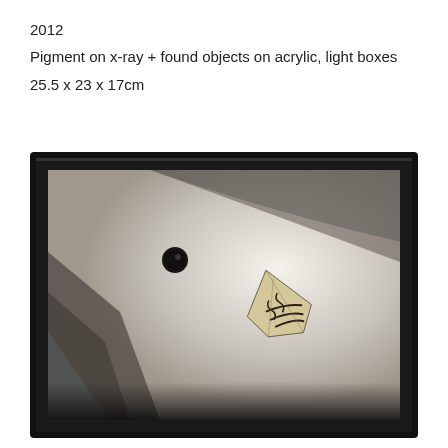2012
Pigment on x-ray + found objects on acrylic, light boxes
25.5 x 23 x 17cm
[Figure (photo): A framed light box artwork with a black frame, showing a glowing white/grey background with shadowy forms and a small paper airplane or origami object made from printed paper, plus a small dark circular object floating above it.]